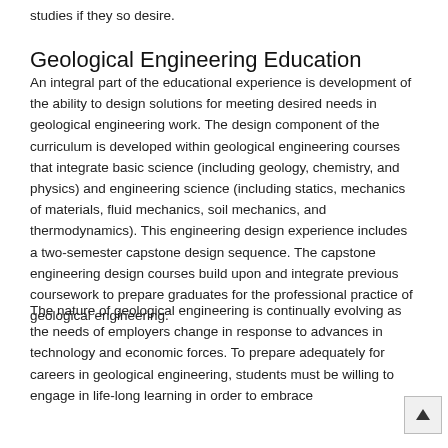studies if they so desire.
Geological Engineering Education
An integral part of the educational experience is development of the ability to design solutions for meeting desired needs in geological engineering work. The design component of the curriculum is developed within geological engineering courses that integrate basic science (including geology, chemistry, and physics) and engineering science (including statics, mechanics of materials, fluid mechanics, soil mechanics, and thermodynamics). This engineering design experience includes a two-semester capstone design sequence. The capstone engineering design courses build upon and integrate previous coursework to prepare graduates for the professional practice of geological engineering.
The nature of geological engineering is continually evolving as the needs of employers change in response to advances in technology and economic forces. To prepare adequately for careers in geological engineering, students must be willing to engage in life-long learning in order to embrace